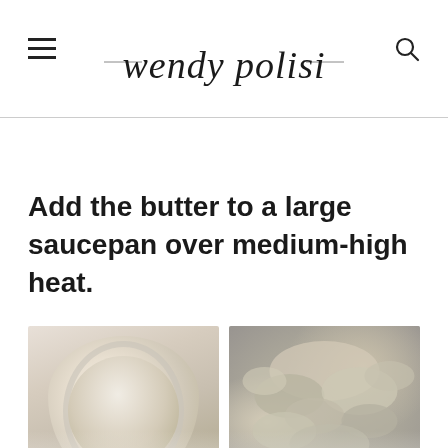wendy polisi
Add the butter to a large saucepan over medium-high heat.
[Figure (photo): Two cooking process photos side by side: left shows a measuring cup or bowl with powder/butter viewed from above in a saucepan; right shows sliced mushrooms and onions cooking in a pan.]